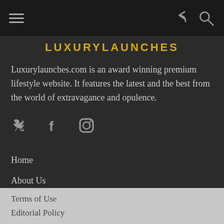LUXURYLAUNCHES
Luxurylaunches.com is an award winning premium lifestyle website. It features the latest and the best from the world of extravagance and opulence.
[Figure (infographic): Social media icons: Twitter bird, Facebook f, Instagram camera]
Home
About Us
Contact Us
Advertising
Terms of Use
Editorial Policy